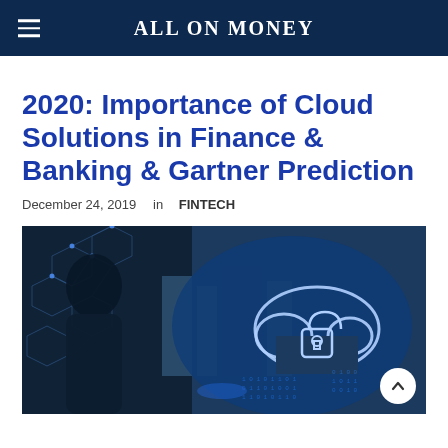ALL ON MONEY
2020: Importance of Cloud Solutions in Finance & Banking & Gartner Prediction
December 24, 2019   in  FINTECH
[Figure (photo): Person in dark jacket interacting with a holographic cloud security interface showing a padlock icon, with city background and digital network overlays]